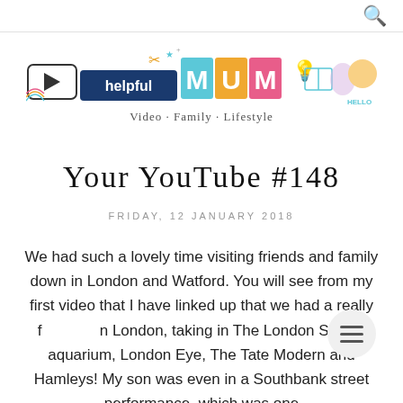[Figure (logo): Helpful Mum blog logo with colorful illustrated icons (play button, scissors, party hat, lightbulb, book, watering can, girl avatar) and text 'helpful MUM · Video · Family · Lifestyle']
Your YouTube #148
FRIDAY, 12 JANUARY 2018
We had such a lovely time visiting friends and family down in London and Watford. You will see from my first video that I have linked up that we had a really fun time in London, taking in The London Sealife aquarium, London Eye, The Tate Modern and Hamleys! My son was even in a Southbank street performance, which was one